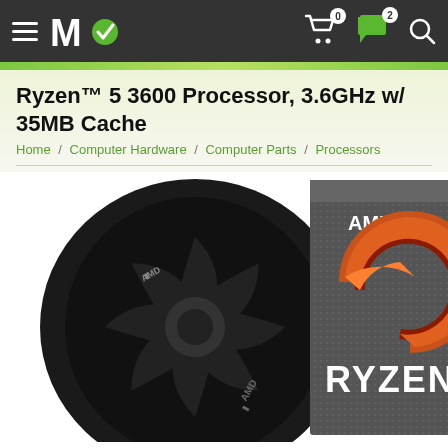Micro Center navigation bar with logo, cart (0), messages (2), search icons
Ryzen™ 5 3600 Processor, 3.6GHz w/ 35MB Cache
Home / Computer Hardware / Computer Parts / Processors
[Figure (photo): AMD Ryzen 5 3600 processor retail box with cooler fan visible on the left side and the grey textured box with AMD logo and RYZEN branding on the right]